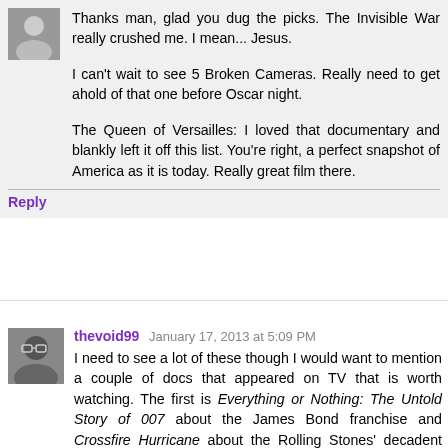Thanks man, glad you dug the picks. The Invisible War really crushed me. I mean... Jesus.

I can't wait to see 5 Broken Cameras. Really need to get ahold of that one before Oscar night.

The Queen of Versailles: I loved that documentary and blankly left it off this list. You're right, a perfect snapshot of America as it is today. Really great film there.
Reply
thevoid99  January 17, 2013 at 5:09 PM
I need to see a lot of these though I would want to mention a couple of docs that appeared on TV that is worth watching. The first is Everything or Nothing: The Untold Story of 007 about the James Bond franchise and Crossfire Hurricane about the Rolling Stones' decadent lifestyle and their road to respectibility.